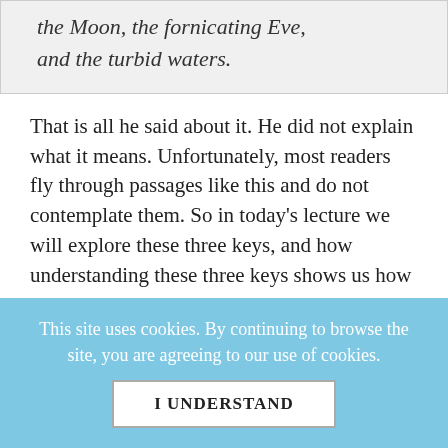the Moon, the fornicating Eve, and the turbid waters.
That is all he said about it. He did not explain what it means. Unfortunately, most readers fly through passages like this and do not contemplate them. So in today's lecture we will explore these three keys, and how understanding these three keys shows us how we ourselves have the key to our own
This site uses cookies. By continuing to browse the site, you are agreeing to our use of cookies.
I UNDERSTAND